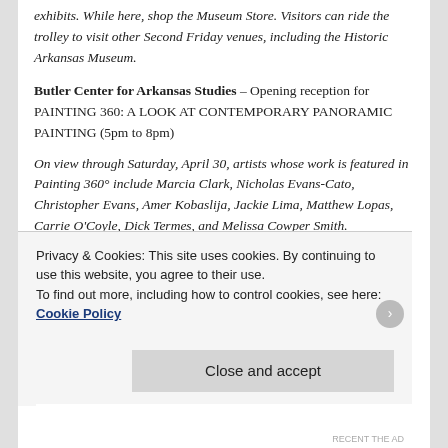exhibits. While here, shop the Museum Store. Visitors can ride the trolley to visit other Second Friday venues, including the Historic Arkansas Museum.
Butler Center for Arkansas Studies – Opening reception for PAINTING 360: A LOOK AT CONTEMPORARY PANORAMIC PAINTING (5pm to 8pm)
On view through Saturday, April 30, artists whose work is featured in Painting 360° include Marcia Clark, Nicholas Evans-Cato, Christopher Evans, Amer Kobaslija, Jackie Lima, Matthew Lopas, Carrie O'Coyle, Dick Termes, and Melissa Cowper Smith.
Featured artist: Julia Holt, an artist who handbuilds clay…
Privacy & Cookies: This site uses cookies. By continuing to use this website, you agree to their use.
To find out more, including how to control cookies, see here: Cookie Policy
Close and accept